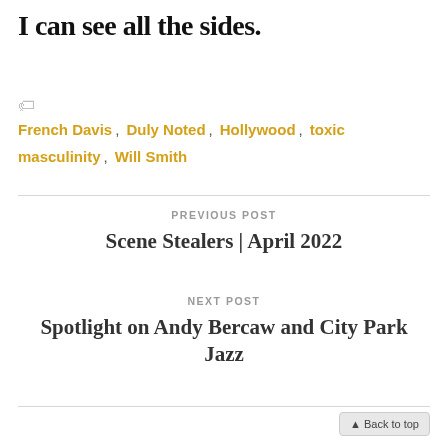I can see all the sides.
French Davis, Duly Noted, Hollywood, toxic masculinity, Will Smith
PREVIOUS POST
Scene Stealers | April 2022
NEXT POST
Spotlight on Andy Bercaw and City Park Jazz
▲ Back to top